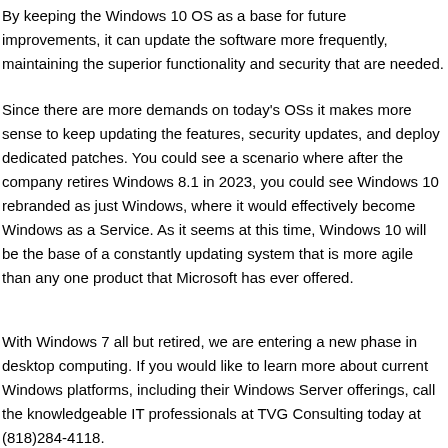By keeping the Windows 10 OS as a base for future improvements, it can update the software more frequently, maintaining the superior functionality and security that are needed.
Since there are more demands on today's OSs it makes more sense to keep updating the features, security updates, and deploy dedicated patches. You could see a scenario where after the company retires Windows 8.1 in 2023, you could see Windows 10 rebranded as just Windows, where it would effectively become Windows as a Service. As it seems at this time, Windows 10 will be the base of a constantly updating system that is more agile than any one product that Microsoft has ever offered.
With Windows 7 all but retired, we are entering a new phase in desktop computing. If you would like to learn more about current Windows platforms, including their Windows Server offerings, call the knowledgeable IT professionals at TVG Consulting today at (818)284-4118.